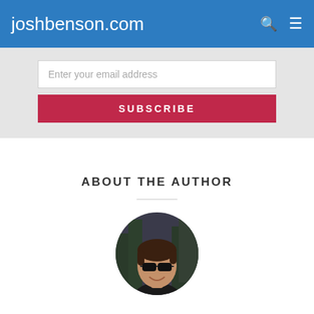joshbenson.com
Enter your email address
SUBSCRIBE
ABOUT THE AUTHOR
[Figure (photo): Circular profile photo of a smiling man wearing sunglasses and a dark shirt, with trees in the background.]